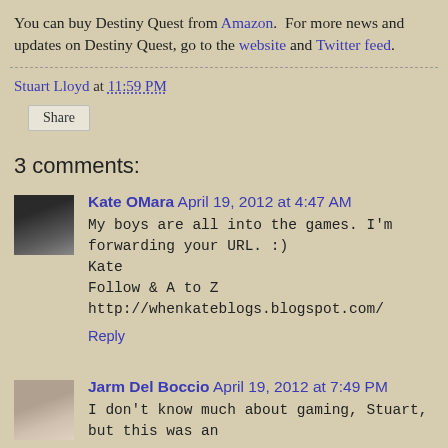You can buy Destiny Quest from Amazon. For more news and updates on Destiny Quest, go to the website and Twitter feed.
Stuart Lloyd at 11:59 PM
Share
3 comments:
Kate OMara April 19, 2012 at 4:47 AM
My boys are all into the games. I'm forwarding your URL. :) Kate
Follow & A to Z http://whenkateblogs.blogspot.com/
Reply
Jarm Del Boccio April 19, 2012 at 7:49 PM
I don't know much about gaming, Stuart, but this was an